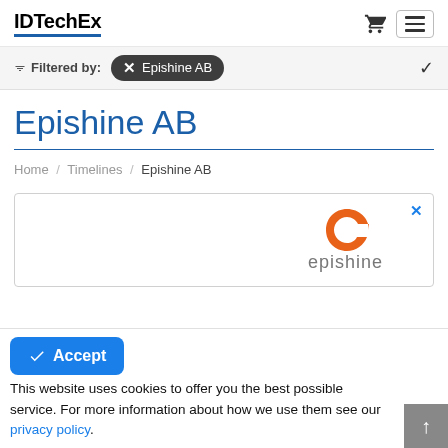IDTechEx
Filtered by: Epishine AB
Epishine AB
Home / Timelines / Epishine AB
[Figure (logo): Epishine orange C logo with partial text 'epishine' below]
Accept
This website uses cookies to offer you the best possible service. For more information about how we use them see our privacy policy.